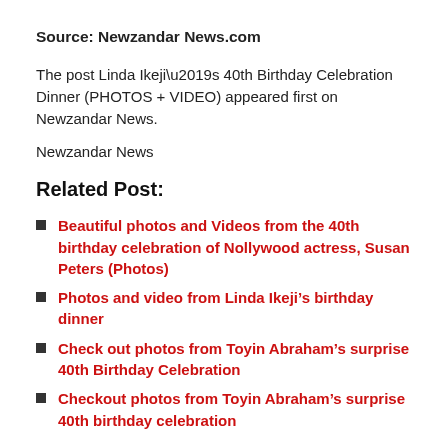Source: Newzandar News.com
The post Linda Ikeji’s 40th Birthday Celebration Dinner (PHOTOS + VIDEO) appeared first on Newzandar News.
Newzandar News
Related Post:
Beautiful photos and Videos from the 40th birthday celebration of Nollywood actress, Susan Peters (Photos)
Photos and video from Linda Ikeji’s birthday dinner
Check out photos from Toyin Abraham’s surprise 40th Birthday Celebration
Checkout photos from Toyin Abraham’s surprise 40th birthday celebration